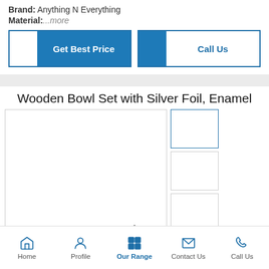Brand: Anything N Everything
Material:...more
[Figure (screenshot): Two action buttons: 'Get Best Price' (blue fill with white icon area) and 'Call Us' (blue icon area with white text area)]
Wooden Bowl Set with Silver Foil, Enamel
[Figure (screenshot): Product image viewer with large main image placeholder on the left and three thumbnail image placeholders on the right (first with blue border, second and third with grey border)]
Home  Profile  Our Range  Contact Us  Call Us